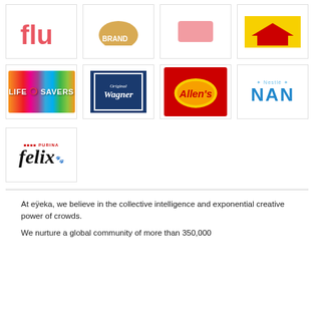[Figure (logo): Partially visible brand logo (top cropped), first row first column]
[Figure (logo): Partially visible brand logo (top cropped), first row second column]
[Figure (logo): Partially visible brand logo (top cropped), first row third column]
[Figure (logo): Partially visible Maggi-style yellow brand logo (top cropped), first row fourth column]
[Figure (logo): Life Savers candy brand logo with colorful stripes]
[Figure (logo): Original Wagner brand logo on blue background]
[Figure (logo): Allen's candy brand logo on red background]
[Figure (logo): Nestlé NAN baby formula logo]
[Figure (logo): Purina Felix cat food brand logo]
At eÿeka, we believe in the collective intelligence and exponential creative power of crowds.
We nurture a global community of more than 350,000...